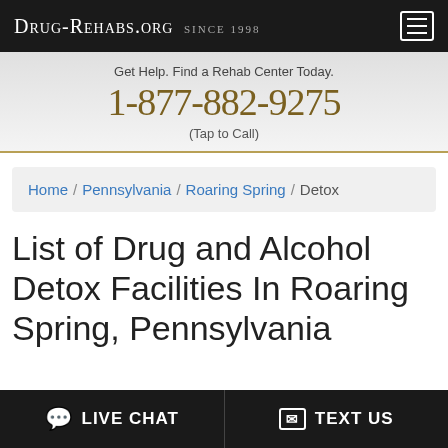Drug-Rehabs.org Since 1998
Get Help. Find a Rehab Center Today.
1-877-882-9275
(Tap to Call)
Home / Pennsylvania / Roaring Spring / Detox
List of Drug and Alcohol Detox Facilities In Roaring Spring, Pennsylvania
LIVE CHAT    TEXT US